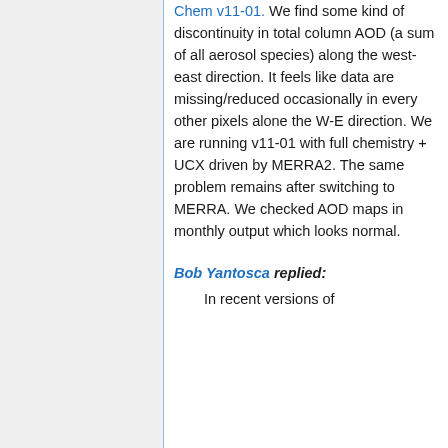Chem v11-01. We find some kind of discontinuity in total column AOD (a sum of all aerosol species) along the west-east direction. It feels like data are missing/reduced occasionally in every other pixels alone the W-E direction. We are running v11-01 with full chemistry + UCX driven by MERRA2. The same problem remains after switching to MERRA. We checked AOD maps in monthly output which looks normal.
Bob Yantosca replied:
In recent versions of